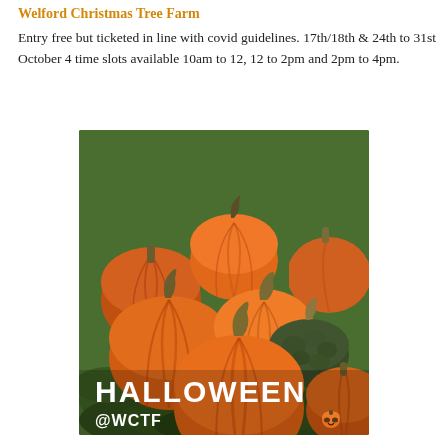Welford Christmas Tree Farm
Entry free but ticketed in line with covid guidelines. 17th/18th & 24th to 31st October 4 time slots available 10am to 12, 12 to 2pm and 2pm to 4pm.
[Figure (photo): A group of orange and dark green pumpkins arranged on grass, with text overlay reading HALLOWEEN @WCTF and a small pumpkin emoji.]